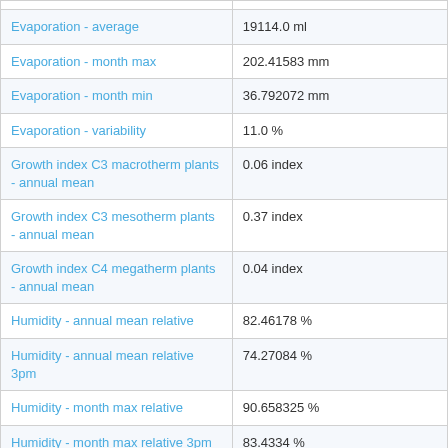| Parameter | Value |
| --- | --- |
| Evaporation - average | 19114.0 ml |
| Evaporation - month max | 202.41583 mm |
| Evaporation - month min | 36.792072 mm |
| Evaporation - variability | 11.0 % |
| Growth index C3 macrotherm plants - annual mean | 0.06 index |
| Growth index C3 mesotherm plants - annual mean | 0.37 index |
| Growth index C4 megatherm plants - annual mean | 0.04 index |
| Humidity - annual mean relative | 82.46178 % |
| Humidity - annual mean relative 3pm | 74.27084 % |
| Humidity - month max relative | 90.658325 % |
| Humidity - month max relative 3pm | 83.4334 % |